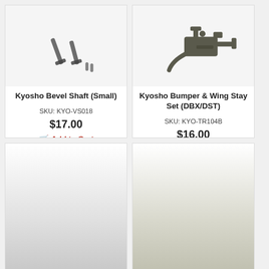[Figure (photo): Small bevel shaft parts for Kyosho RC cars - two pin-like shafts and two small pins on white background]
Kyosho Bevel Shaft (Small)
SKU: KYO-VS018
$17.00
Add to Cart
[Figure (photo): Kyosho Bumper & Wing Stay Set plastic parts for DBX/DST RC cars in dark olive/gray color on white background]
Kyosho Bumper & Wing Stay Set (DBX/DST)
SKU: KYO-TR104B
$16.00
Add to Cart
[Figure (photo): Partially visible product image at bottom left]
[Figure (photo): Partially visible product image at bottom right]